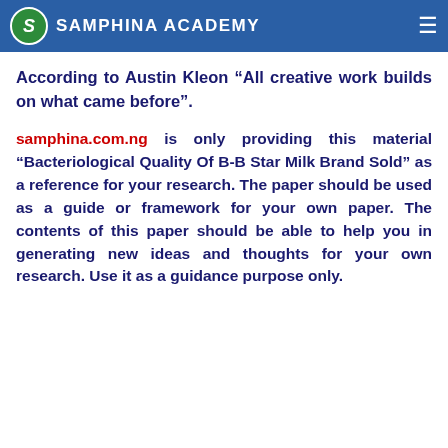SAMPHINA ACADEMY
to read previous projects, books, articles or papers while developing their own works. According to Austin Kleon “All creative work builds on what came before”.
samphina.com.ng is only providing this material “Bacteriological Quality Of B-B Star Milk Brand Sold” as a reference for your research. The paper should be used as a guide or framework for your own paper. The contents of this paper should be able to help you in generating new ideas and thoughts for your own research. Use it as a guidance purpose only.